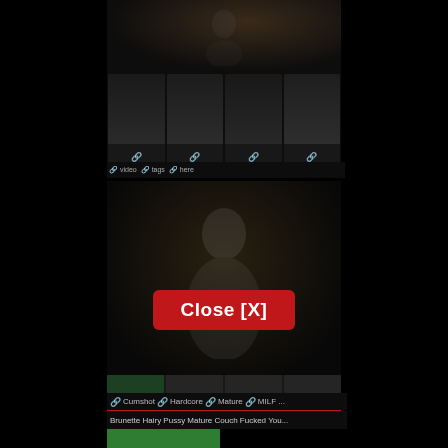[Figure (screenshot): Dark video player interface showing a dim video at top with person silhouette, thumbnail row below, and a large dark main video area]
Close [X]
🔗 Cumshot  🔗 Hardcore  🔗 Mature  🔗 MILF ...
Brunette Hairy Pussy Mature Couch Fucked You...